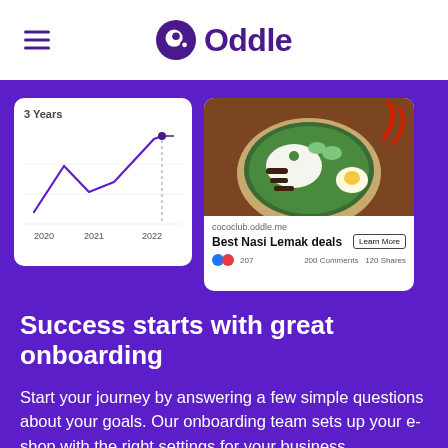Oddle
[Figure (line-chart): Line chart showing 3 Years trend from 2020 to 2022]
[Figure (photo): Photo of Nasi Lemak dish with rice, egg, cucumber, anchovies on a plate with banana leaf]
cococlub.oddle.me
Best Nasi Lemak deals
Learn More
200 Comments   120 Shares
Success starts with great onboarding
Start your journey by answering a few simple questions about your goals. Our onboarding team sets up your e-shop with the right settings for your business.